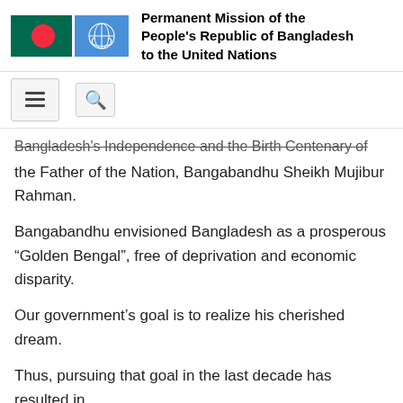Permanent Mission of the People's Republic of Bangladesh to the United Nations
[Figure (logo): Bangladesh national flag (green with red circle) and United Nations flag (blue with UN emblem) side by side]
Bangladesh's Independence and the Birth Centenary of the Father of the Nation, Bangabandhu Sheikh Mujibur Rahman.
Bangabandhu envisioned Bangladesh as a prosperous “Golden Bengal”, free of deprivation and economic disparity.
Our government’s goal is to realize his cherished dream.
Thus, pursuing that goal in the last decade has resulted in much progress, and Bangladesh being recognized as a